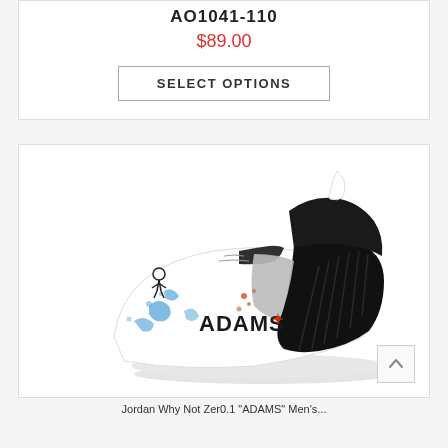AO1041-110
$89.00
SELECT OPTIONS
[Figure (photo): Nike basketball shoe with white toe box featuring blue paint splatter and 'ADAMS' text in black, black heel and ankle collar, mid-top silhouette with strap closure]
Jordan Why Not Zer0.1 "ADAMS" Men's...